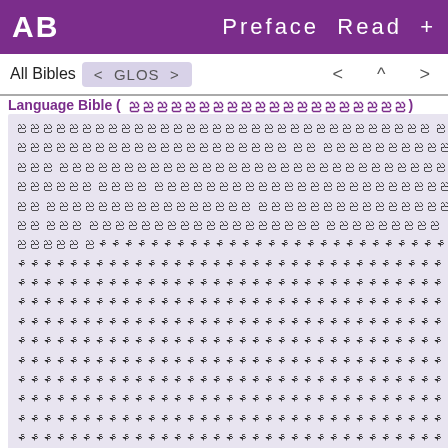AB   Preface  Read  +
All Bibles  < GLOS >   <  ^  >
Language Bible ( ညညညညညညညညညညညညညညညညညညညည )
ညညညညညညညညညညညညညညညညညညညညညညညညညညညညညညညည ညညညညညညညညညညညညညညညညညညညညညညည ညည ညညညညညညညညညညညညညညညညညညညညညညညညညညညညညညညညညညညညညညည ညညညညညညညညညညညည ညညညညညညည ညညညညညညညညညညညညညညညညညညညညညညညညညညညညညညညညည ညညညညညညညညညညညညညညညညညညည ညညည ညညညညညညညညညညညညညညညညညညညညညညညညညည ညညညညညညညညညစစစစစစစစစစစစစစစစစစစစစစစစစစစစစစစစစစစစစစစစစစစစစစစစစစစစစစစစစစစစစစစစ နနနနနနနနနနနနနနနနနနနနနနနနနနနနနနနနနနနနနနနနနနနနနနနနနနနနနနနနနနနနနနနနနနနနနနနနနနနနနနနနနနနနနနနနနနနနနနနနနနနနနနနနနနနနနနနနနနန (Sheol h7585)
Myanmar Burmese ( မြန်မာဘာသာ ) ~ Myanmar Burmese Judson Bible ( မြန်မာဘာသာဓမ္မသတ်ကျမ်းစာ )
စစစစစစစစစစစစ နနနနနနန နနနနနနနနနနနနနနနနနနနနနနနနနနနနနနနနနနနနနနနနနနနနနနနနနနနနနနနနနနနနနနနနနနနနနနနနနနနနနနနနနနနနနနနနနနနနနနနနနနနနနနနနနနနနနနနနနနနနနနနနနနနနနနနနနနနနနနနနနနနနနနနနနနနနနနနနနနနနနနနနနနနနနနနနနနနနနနနနနနနနနနနနနနနနနနနနနနနနနနနနနနနနနနနနနနနနနနနနနနနနနနနနနနနနနနနနနနနနနနနနနနနနနနနနနနနနနနန